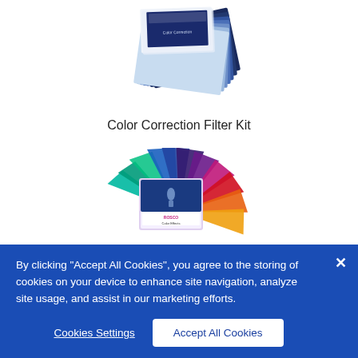[Figure (photo): Color correction filter kit - stacked translucent blue/grey filter sheets fanned out with a label card on top]
Color Correction Filter Kit
[Figure (photo): Rosco Color Effects filter kit - colorful translucent gel filters fanned out in multiple colors (teal, green, blue, purple, red, orange, yellow) with a booklet/catalog in the center]
By clicking “Accept All Cookies”, you agree to the storing of cookies on your device to enhance site navigation, analyze site usage, and assist in our marketing efforts.
Cookies Settings
Accept All Cookies